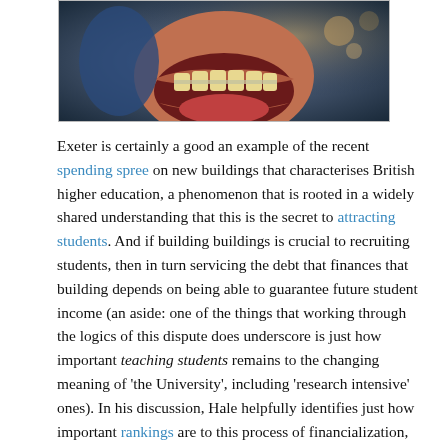[Figure (photo): Close-up photo of an animated character with a wide open mouth showing teeth, with a colorful blurred background]
Exeter is certainly a good an example of the recent spending spree on new buildings that characterises British higher education, a phenomenon that is rooted in a widely shared understanding that this is the secret to attracting students. And if building buildings is crucial to recruiting students, then in turn servicing the debt that finances that building depends on being able to guarantee future student income (an aside: one of the things that working through the logics of this dispute does underscore is just how important teaching students remains to the changing meaning of 'the University', including 'research intensive' ones). In his discussion, Hale helpfully identifies just how important rankings are to this process of financialization, playing two related roles in mediating